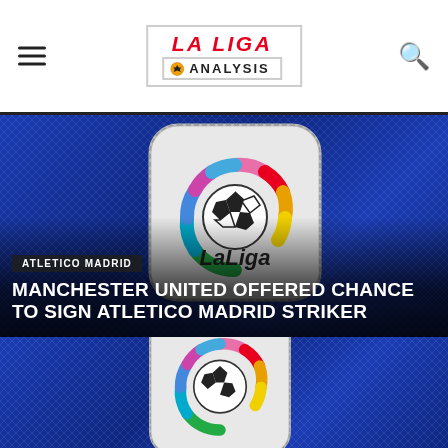LA LIGA ANALYSIS
[Figure (photo): Close-up of LaLiga emblem badge on blue football shirt fabric]
ATLETICO MADRID
MANCHESTER UNITED OFFERED CHANCE TO SIGN ATLETICO MADRID STRIKER
[Figure (photo): Close-up of LaLiga emblem badge on blue football shirt fabric (second article)]